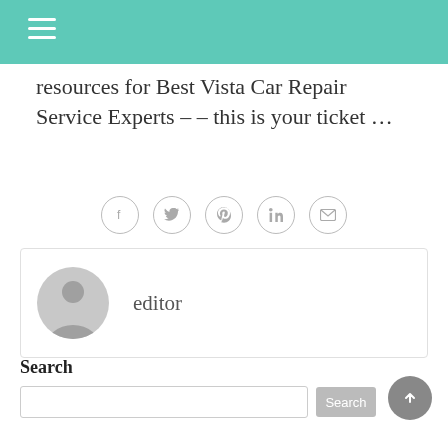resources for Best Vista Car Repair Service Experts – – this is your ticket …
[Figure (other): Social share icons row: Facebook, Twitter, Pinterest, LinkedIn, Email — each in a thin circle]
[Figure (other): Author card with avatar placeholder and name 'editor']
Search
[Figure (other): Search input field and Search button]
[Figure (other): Scroll-to-top circular button with upward chevron]